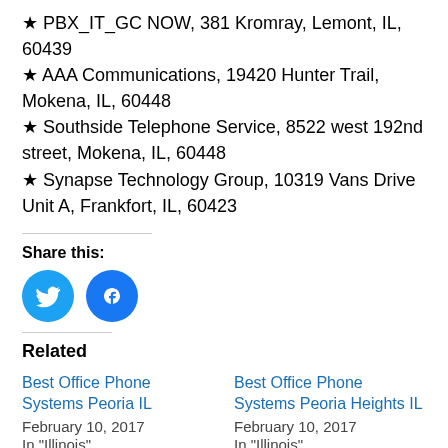★ PBX_IT_GC NOW, 381 Kromray, Lemont, IL, 60439
★ AAA Communications, 19420 Hunter Trail, Mokena, IL, 60448
★ Southside Telephone Service, 8522 west 192nd street, Mokena, IL, 60448
★ Synapse Technology Group, 10319 Vans Drive Unit A, Frankfort, IL, 60423
Share this:
[Figure (other): Twitter and Facebook social share buttons (circular blue icons)]
Related
Best Office Phone Systems Peoria IL
February 10, 2017
In "Illinois"
Best Office Phone Systems Peoria Heights IL
February 10, 2017
In "Illinois"
Best Office Phone...